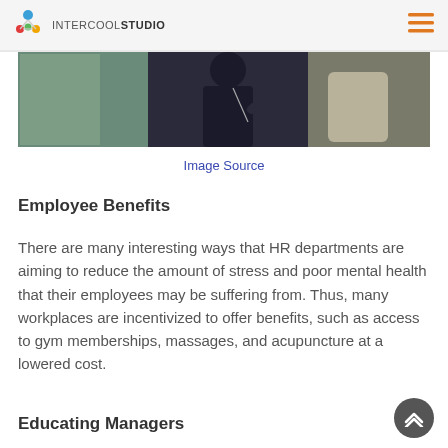INTERCOOL STUDIO
[Figure (photo): A person sitting, wearing dark clothing, photographed from behind/side, in an indoor setting with a wall visible.]
Image Source
Employee Benefits
There are many interesting ways that HR departments are aiming to reduce the amount of stress and poor mental health that their employees may be suffering from. Thus, many workplaces are incentivized to offer benefits, such as access to gym memberships, massages, and acupuncture at a lowered cost.
Educating Managers